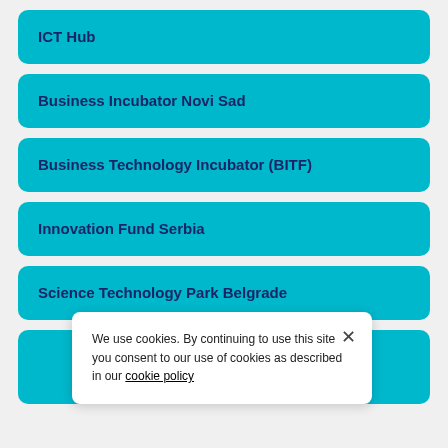ICT Hub
Business Incubator Novi Sad
Business Technology Incubator (BITF)
Innovation Fund Serbia
Science Technology Park Belgrade
We use cookies. By continuing to use this site you consent to our use of cookies as described in our cookie policy